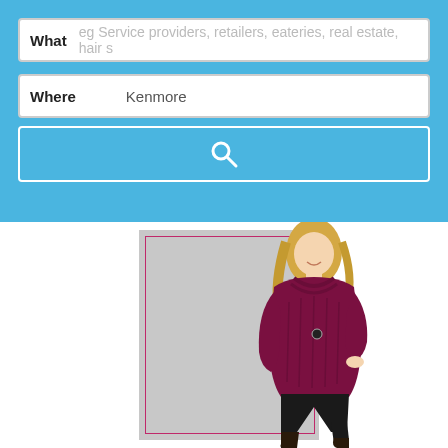[Figure (screenshot): Search interface with 'What' field showing placeholder 'eg Service providers, retailers, eateries, real estate, hair s' and 'Where' field showing 'Kenmore', with a blue search button containing a magnifying glass icon]
[Figure (photo): Woman with blonde hair wearing a dark magenta/burgundy cowl-neck sweater and black pants, posing against a grey background with a pink rectangular border overlay]